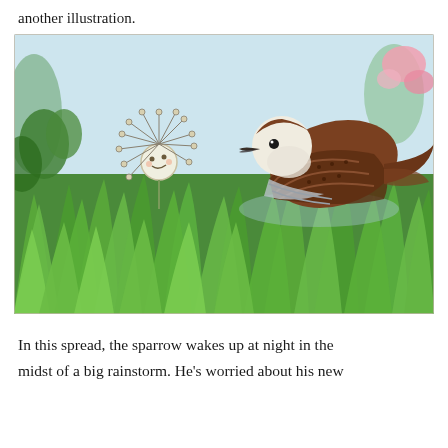another illustration.
[Figure (illustration): A children's book illustration showing a brown sparrow in flight over lush green grass. On the left is a dandelion seed character with a smiling face and radiating lines. The background is light blue sky with pink flowers in the upper right corner.]
In this spread, the sparrow wakes up at night in the midst of a big rainstorm. He's worried about his new